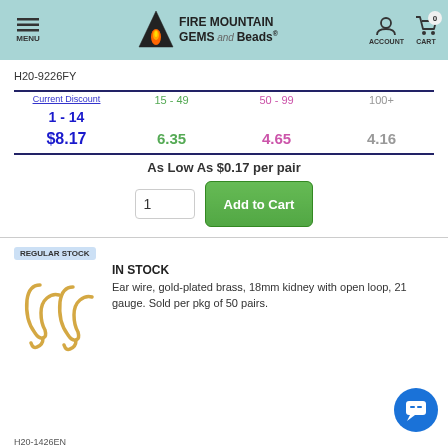[Figure (logo): Fire Mountain Gems and Beads logo with mountain/flame icon]
H20-9226FY
| Current Discount | 15 - 49 | 50 - 99 | 100+ |
| --- | --- | --- | --- |
| 1 - 14 | 15 - 49 | 50 - 99 | 100+ |
| $8.17 | 6.35 | 4.65 | 4.16 |
As Low As $0.17 per pair
REGULAR STOCK
IN STOCK
[Figure (photo): Gold-plated kidney ear wires, two pairs shown]
Ear wire, gold-plated brass, 18mm kidney with open loop, 21 gauge. Sold per pkg of 50 pairs.
H20-1426EN